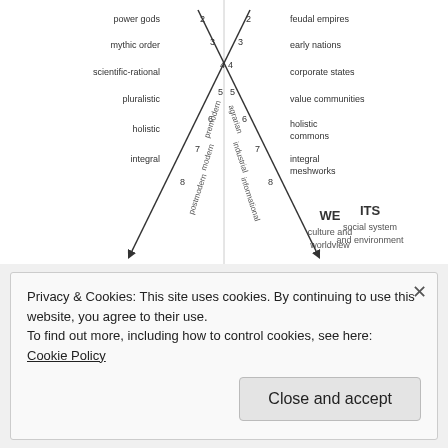[Figure (schematic): Integral theory quadrant diagram showing WE (culture and worldview) and ITS (social system and environment) quadrants with developmental levels numbered 2-8, including labels: power gods, mythic order, scientific-rational, pluralistic, holistic, integral on the WE side; feudal empires, early nations, corporate states, value communities, holistic commons, integral meshworks on the ITS side. Diagonal lines with pre/modern/postmodern and agrarian/industrial/informational labels.]
[Figure (photo): Advertisement banner for 'FANDOM ON tumblr' with colorful orange-to-purple gradient background and decorative music/doodle elements.]
Privacy & Cookies: This site uses cookies. By continuing to use this website, you agree to their use.
To find out more, including how to control cookies, see here:
Cookie Policy